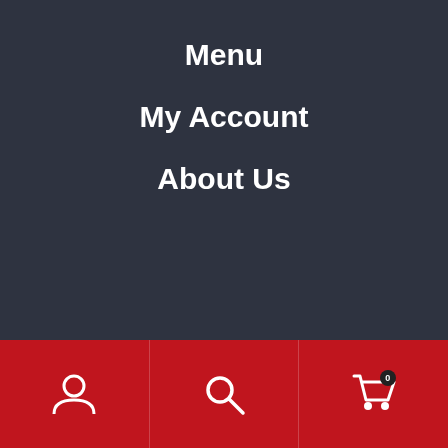Menu
My Account
About Us
[Figure (logo): Soprano's restaurant logo with stylized script lettering and olive branch with olives]
3072 West Chester Pike Broomall, PA 19008
Bottom navigation bar with account, search, and cart icons